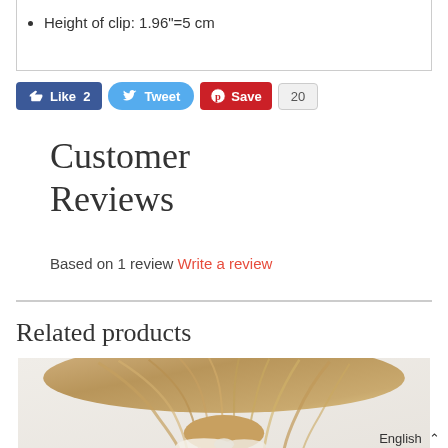Height of clip: 1.96"=5 cm
[Figure (infographic): Social media sharing buttons: Facebook Like (2 likes), Twitter Tweet, Pinterest Save (20 saves)]
Customer Reviews
Based on 1 review Write a review
Related products
[Figure (photo): Photo of a person with blonde hair tied in a ponytail with a white bow/scrunchie, viewed from behind]